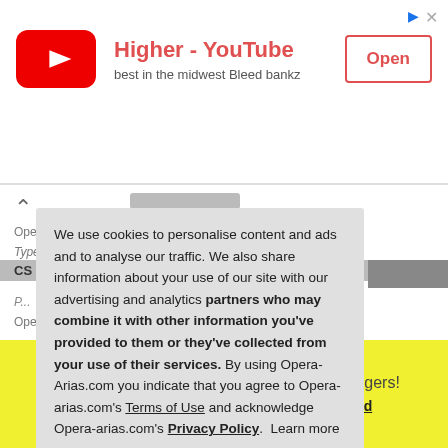[Figure (screenshot): YouTube ad banner with red YouTube logo/play button icon, text 'Higher - YouTube / best in the midwest Bleed bankz', and an 'Open' button with ad icons in corner]
[Figure (screenshot): Opera-Arias.com website content showing opera aria listings with Act numbers 2.01 and 2.02, partially visible behind cookie consent overlay]
We use cookies to personalise content and ads and to analyse our traffic. We also share information about your use of our site with our advertising and analytics partners who may combine it with other information you've provided to them or they've collected from your use of their services. By using Opera-Arias.com you indicate that you agree to Opera-arias.com's Terms of Use and acknowledge Opera-arias.com's Privacy Policy. Learn more
New: Save your favorite arias, videos and singers!
Tell me more - Check it later - Not interested